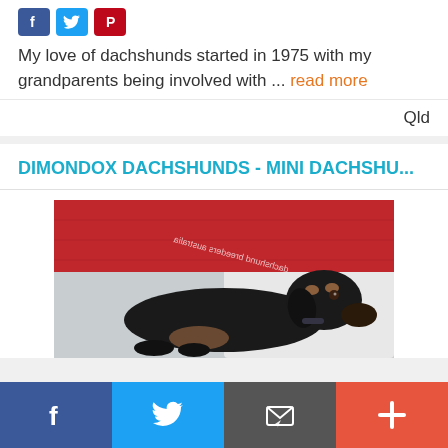My love of dachshunds started in 1975 with my grandparents being involved with ... read more
Qld
DIMONDOX DACHSHUNDS - MINI DACHSHU...
[Figure (photo): A black and tan miniature dachshund lying down, photographed from above. A red fabric is visible in the background. Mirrored/watermark text visible on the image.]
Facebook | Twitter | Email/Share | Plus